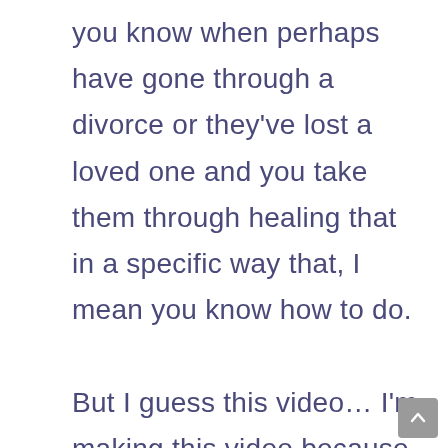you know when perhaps have gone through a divorce or they've lost a loved one and you take them through healing that in a specific way that, I mean you know how to do.

But I guess this video... I'm making this video because I was having a conversation with somebody today and she was thinking about joining the Hand Analysis Academy and she is a healer. We were talking about bringing all her different